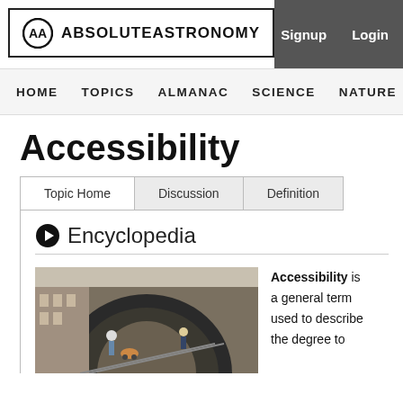ABSOLUTEASTRONOMY | Signup | Login
HOME  TOPICS  ALMANAC  SCIENCE  NATURE  PEOPLE
Accessibility
Topic Home | Discussion | Definition
Encyclopedia
[Figure (photo): People with strollers and wheelchairs in a public transit station or similar accessible public space]
Accessibility is a general term used to describe the degree to